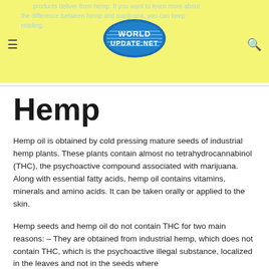products deliver from hemp. If you want to learn more about the difference between hemp and marijuana, you can keep reading.
Hemp
Hemp oil is obtained by cold pressing mature seeds of industrial hemp plants. These plants contain almost no tetrahydrocannabinol (THC), the psychoactive compound associated with marijuana. Along with essential fatty acids, hemp oil contains vitamins, minerals and amino acids. It can be taken orally or applied to the skin.
Hemp seeds and hemp oil do not contain THC for two main reasons: – They are obtained from industrial hemp, which does not contain THC, which is the psychoactive illegal substance, localized in the leaves and not in the seeds where